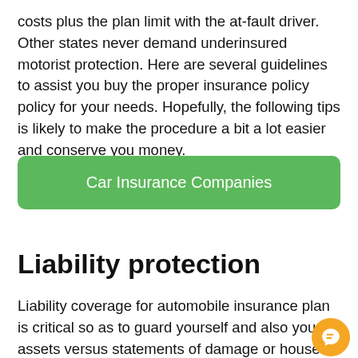costs plus the plan limit with the at-fault driver. Other states never demand underinsured motorist protection. Here are several guidelines to assist you buy the proper insurance policy policy for your needs. Hopefully, the following tips is likely to make the procedure a bit a lot easier and conserve you money.
Car Insurance Companies
Liability protection
Liability coverage for automobile insurance plan is critical so as to guard yourself and also your assets versus statements of damage or house injury. This protection can cover the cost of protection or settlement should you be found at fault for an accident. There are plenty of varieties of coverage it is vital to be aware of the distinction between the ot...